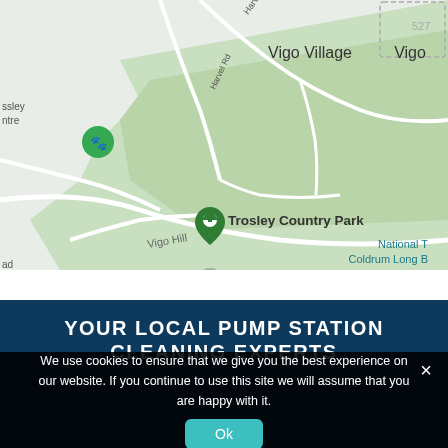[Figure (map): Google Maps screenshot showing Trosley Country Park area with Vigo Village and Vigo labels, Harvel Rd road label, Vigo Hill label, National Trust Coldrum Long Barrow label, a green map pin for Trosley Country Park, and a paw print pin for a nearby location. Green terrain area visible.]
YOUR LOCAL PUMP STATION CLEANING EXPERTS
We use cookies to ensure that we give you the best experience on our website. If you continue to use this site we will assume that you are happy with it.